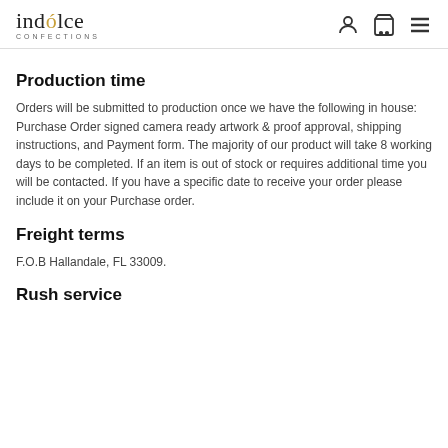indolce CONFECTIONS
Production time
Orders will be submitted to production once we have the following in house:  Purchase Order signed camera ready artwork & proof approval, shipping instructions, and Payment form. The majority of our product will take 8 working days to be completed.  If an item is out of stock or requires additional time you will be contacted. If you have a specific date to receive your order please include it on your Purchase order.
Freight terms
F.O.B  Hallandale, FL 33009.
Rush service